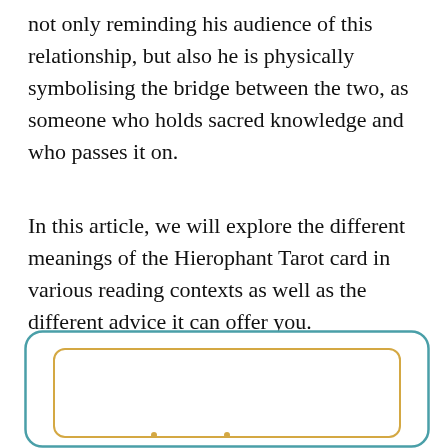not only reminding his audience of this relationship, but also he is physically symbolising the bridge between the two, as someone who holds sacred knowledge and who passes it on.
In this article, we will explore the different meanings of the Hierophant Tarot card in various reading contexts as well as the different advice it can offer you.
[Figure (illustration): A decorative box with a teal/blue-green rounded rectangle border containing a smaller golden/amber rounded rectangle border inside it, suggesting a card or frame motif, with two small golden dots visible near the center bottom area.]